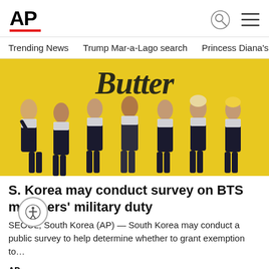AP
Trending News   Trump Mar-a-Lago search   Princess Diana's dea
[Figure (photo): BTS K-pop group posing in black suits in front of a yellow background with the word 'Butter' in large stylized text]
S. Korea may conduct survey on BTS members' military duty
SEOUL, South Korea (AP) — South Korea may conduct a public survey to help determine whether to grant exemption to…
AP  -1 mins ago